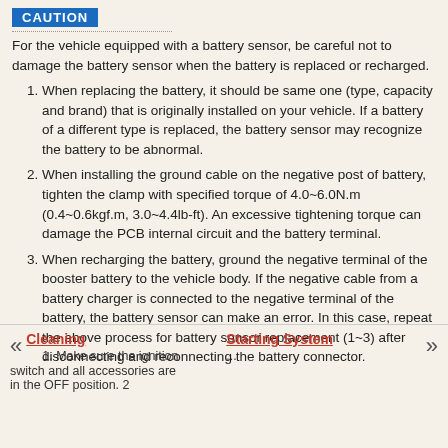CAUTION
For the vehicle equipped with a battery sensor, be careful not to damage the battery sensor when the battery is replaced or recharged.
1. When replacing the battery, it should be same one (type, capacity and brand) that is originally installed on your vehicle. If a battery of a different type is replaced, the battery sensor may recognize the battery to be abnormal.
2. When installing the ground cable on the negative post of battery, tighten the clamp with specified torque of 4.0~6.0N.m (0.4~0.6kgf.m, 3.0~4.4lb-ft). An excessive tightening torque can damage the PCB internal circuit and the battery terminal.
3. When recharging the battery, ground the negative terminal of the booster battery to the vehicle body. If the negative cable from a battery charger is connected to the negative terminal of the battery, the battery sensor can make an error. In this case, repeat the above process for battery sensor replacement (1~3) after disconnecting and reconnecting the battery connector.
Cleaning | Starting System | 1. Make sure the ignition switch and all accessories are in the OFF position. 2 ...